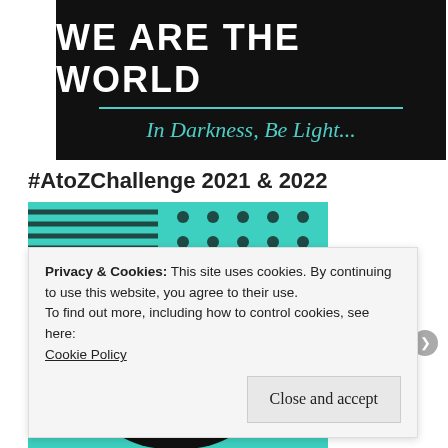[Figure (illustration): Dark banner with white bold uppercase text 'WE ARE THE WORLD', a teal horizontal rule, and teal italic text 'In Darkness, Be Light...']
#AtoZChallenge 2021 & 2022
[Figure (logo): A to Z Challenge April Challenge logo — teal and black circular stamp design with 'A TO Z CHALLENGE' around the arc and 'APRIL CHALLENGE' in the center badge, on a teal background with geometric patterns (stripes and dots)]
Privacy & Cookies: This site uses cookies. By continuing to use this website, you agree to their use.
To find out more, including how to control cookies, see here:
Cookie Policy
Close and accept